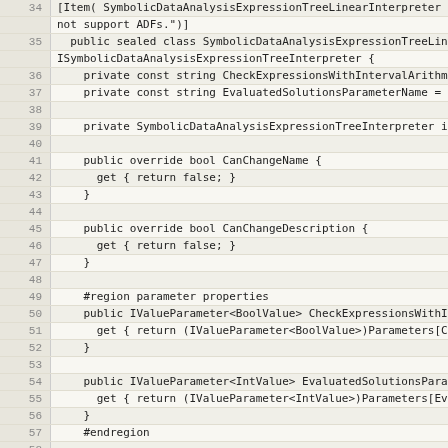Source code listing, lines 34-59, C# code for SymbolicDataAnalysisExpressionTreeLinearInterpreter class
34: [Item( SymbolicDataAnalysisExpressionTreeLinearInterpreter does not support ADFs."))]
35: public sealed class SymbolicDataAnalysisExpressionTreeLine ISymbolicDataAnalysisExpressionTreeInterpreter {
36:   private const string CheckExpressionsWithIntervalArithme
37:   private const string EvaluatedSolutionsParameterName = "
38: (empty)
39:   private SymbolicDataAnalysisExpressionTreeInterpreter in
40: (empty)
41:   public override bool CanChangeName {
42:     get { return false; }
43:   }
44: (empty)
45:   public override bool CanChangeDescription {
46:     get { return false; }
47:   }
48: (empty)
49:   #region parameter properties
50:   public IValueParameter<BoolValue> CheckExpressionsWithIn
51:     get { return (IValueParameter<BoolValue>)Parameters[Ch
52:   }
53: (empty)
54:   public IValueParameter<IntValue> EvaluatedSolutionsParam
55:     get { return (IValueParameter<IntValue>)Parameters[Eva
56:   }
57:   #endregion
58: (empty)
59:   #region properties